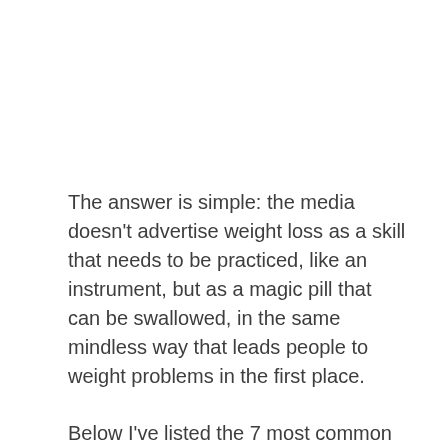The answer is simple: the media doesn't advertise weight loss as a skill that needs to be practiced, like an instrument, but as a magic pill that can be swallowed, in the same mindless way that leads people to weight problems in the first place.
Below I've listed the 7 most common fat loss mistakes everyone makes to help you stay clear of the confusion and arbitrary information flooding magazines everywhere. Get each of these dialled in